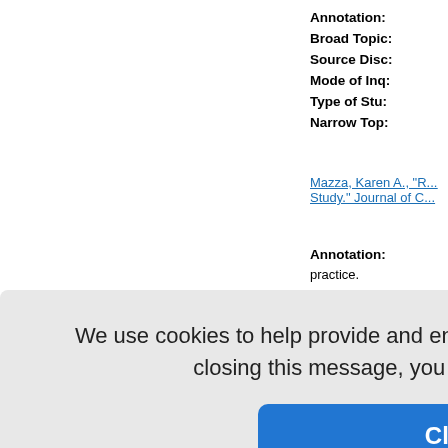Annotation:
Broad Topic:
Source Disc:
Mode of Inq:
Type of Stu:
Narrow Top:
Mazza, Karen A., "R... Study." Journal of C...
Annotation: practice.
Broad Topic: Conceptions... Structure,Cu...
Source Disc:
Mode of Inq: Criticism,Aes... Inquiry,Criti...
Type of Stu:
Narrow Top:
We use cookies to help provide and enhance our service and tailor content. By closing this message, you agree to the use of cookies.